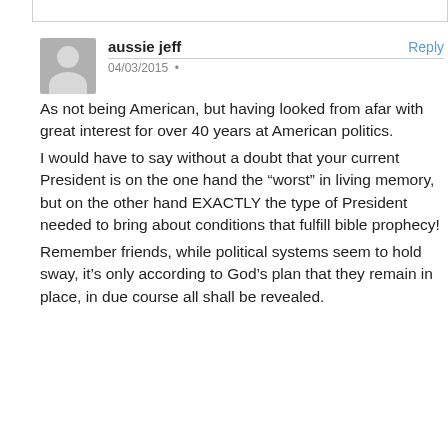aussie jeff | 04/03/2015 | Reply
As not being American, but having looked from afar with great interest for over 40 years at American politics.
I would have to say without a doubt that your current President is on the one hand the “worst” in living memory, but on the other hand EXACTLY the type of President needed to bring about conditions that fulfill bible prophecy!
Remember friends, while political systems seem to hold sway, it’s only according to God’s plan that they remain in place, in due course all shall be revealed.